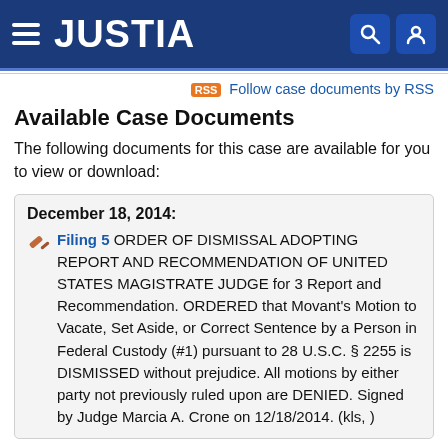JUSTIA
Follow case documents by RSS
Available Case Documents
The following documents for this case are available for you to view or download:
December 18, 2014:
Filing 5  ORDER OF DISMISSAL ADOPTING REPORT AND RECOMMENDATION OF UNITED STATES MAGISTRATE JUDGE for 3 Report and Recommendation. ORDERED that Movant's Motion to Vacate, Set Aside, or Correct Sentence by a Person in Federal Custody (#1) pursuant to 28 U.S.C. § 2255 is DISMISSED without prejudice. All motions by either party not previously ruled upon are DENIED. Signed by Judge Marcia A. Crone on 12/18/2014. (kls, )